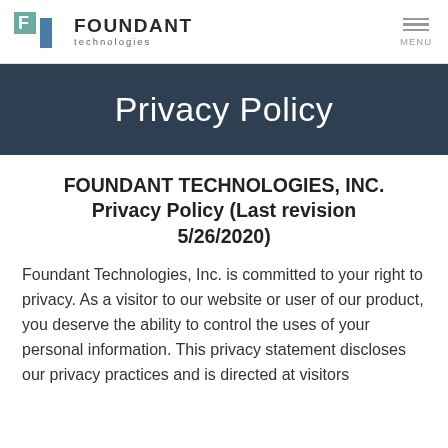FOUNDANT technologies | MENU
Privacy Policy
FOUNDANT TECHNOLOGIES, INC. Privacy Policy (Last revision 5/26/2020)
Foundant Technologies, Inc. is committed to your right to privacy. As a visitor to our website or user of our product, you deserve the ability to control the uses of your personal information. This privacy statement discloses our privacy practices and is directed at visitors